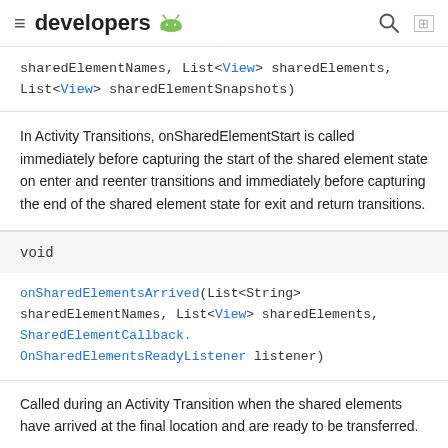developers [android logo]
sharedElementNames, List<View> sharedElements, List<View> sharedElementSnapshots)
In Activity Transitions, onSharedElementStart is called immediately before capturing the start of the shared element state on enter and reenter transitions and immediately before capturing the end of the shared element state for exit and return transitions.
void
onSharedElementsArrived(List<String> sharedElementNames, List<View> sharedElements, SharedElementCallback.OnSharedElementsReadyListener listener)
Called during an Activity Transition when the shared elements have arrived at the final location and are ready to be transferred.